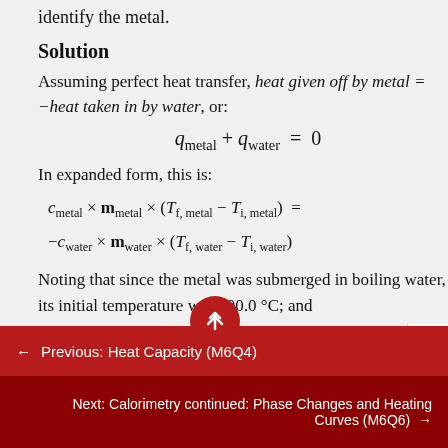identify the metal.
Solution
Assuming perfect heat transfer, heat given off by metal = −heat taken in by water, or:
In expanded form, this is:
Noting that since the metal was submerged in boiling water, its initial temperature was 100.0 °C; and
← Previous: Heat Capacity (M6Q4)
Next: Calorimetry continued: Phase Changes and Heating Curves (M6Q6) →